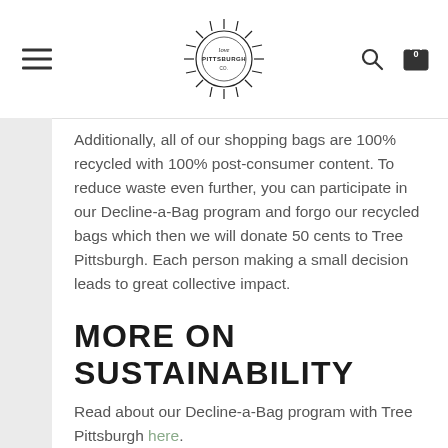love Pittsburgh [logo]
Additionally, all of our shopping bags are 100% recycled with 100% post-consumer content. To reduce waste even further, you can participate in our Decline-a-Bag program and forgo our recycled bags which then we will donate 50 cents to Tree Pittsburgh. Each person making a small decision leads to great collective impact.
MORE ON SUSTAINABILITY
Read about our Decline-a-Bag program with Tree Pittsburgh here.